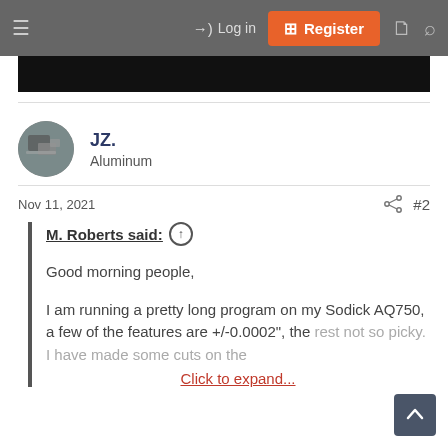≡   → Log in   [+] Register   🗋   🔍
[Figure (screenshot): Dark banner/image strip at top of forum page]
JZ.
Aluminum
Nov 11, 2021   #2
M. Roberts said: ↑

Good morning people,

I am running a pretty long program on my Sodick AQ750, a few of the features are +/-0.0002", the rest not so picky. I have made some cuts on the
Click to expand...